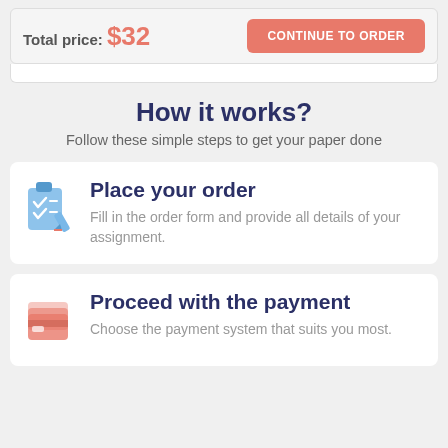Total price: $32
CONTINUE TO ORDER
How it works?
Follow these simple steps to get your paper done
Place your order
Fill in the order form and provide all details of your assignment.
Proceed with the payment
Choose the payment system that suits you most.